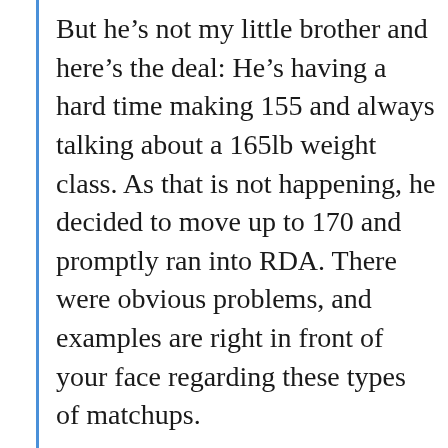But he's not my little brother and here's the deal: He's having a hard time making 155 and always talking about a 165lb weight class. As that is not happening, he decided to move up to 170 and promptly ran into RDA. There were obvious problems, and examples are right in front of your face regarding these types of matchups.
...
Lee has a lot to think about moving forward. He should stay at